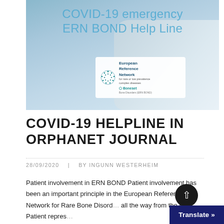[Figure (photo): Hero banner image showing a person holding a phone, with overlay text reading 'COVID-19 emergency ERN BOND Help Line' and the European Reference Network for Bone Disorders logo.]
COVID-19 HELPLINE IN ORPHANET JOURNAL
28/09/2020  |  BY INGUNN WESTERHEIM
Patient involvement in ERN BOND Patient involvement has been an important principle in the European Reference Network for Rare Bone Disorders (ERN BOND) all the way from the start. Patient repres...